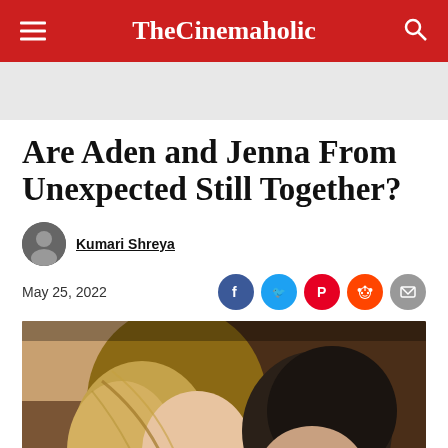TheCinemaholic
Are Aden and Jenna From Unexpected Still Together?
Kumari Shreya
May 25, 2022
[Figure (photo): Two people (a young woman with brown/blonde hair and a young man) leaning close together, looking down, in what appears to be an indoor setting with wooden background.]